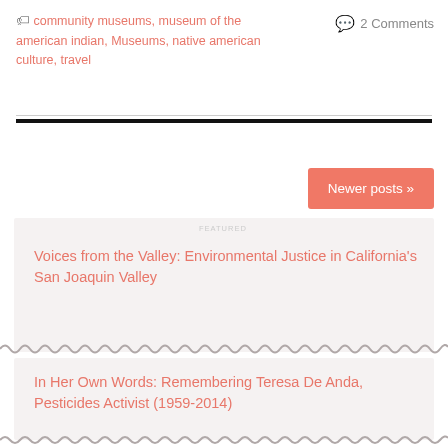community museums, museum of the american indian, Museums, native american culture, travel
2 Comments
Newer posts »
Voices from the Valley: Environmental Justice in California's San Joaquin Valley
In Her Own Words: Remembering Teresa De Anda, Pesticides Activist (1959-2014)